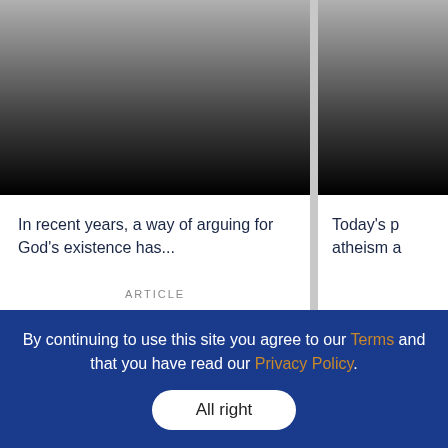Less Bang for the Buck?
In recent years, a way of arguing for God's existence has...
ARTICLE
Answe to Mak with Lo
Today's p atheism a
By continuing to use this site you agree to our Terms and that you have read our Privacy Policy.
All right